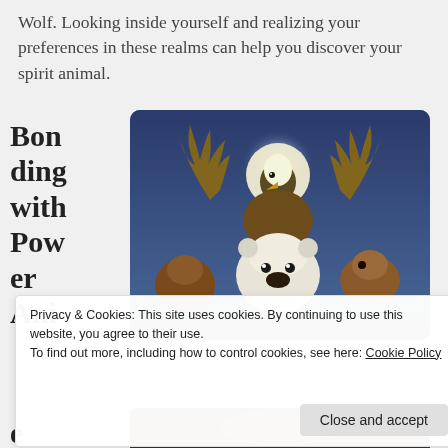Wolf. Looking inside yourself and realizing your preferences in these realms can help you discover your spirit animal.
Bonding with Power Ani
[Figure (illustration): Painting of multiple spirit animals including a bald eagle, moose with antlers, polar bear, and deer/elk against a blue background with a full moon]
Privacy & Cookies: This site uses cookies. By continuing to use this website, you agree to their use.
To find out more, including how to control cookies, see here: Cookie Policy
Close and accept
e